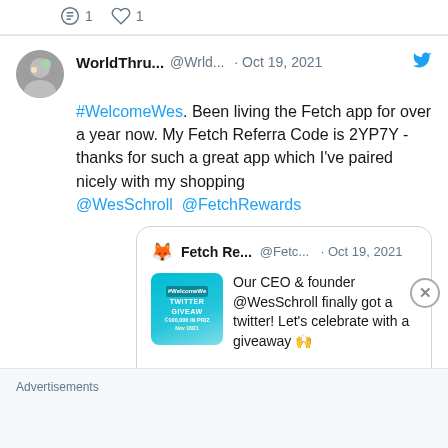[Figure (screenshot): Top of page showing tweet interaction icons: comment (1) and like (1) counts]
WorldThru... @Wrld... · Oct 19, 2021 — #WelcomeWes. Been living the Fetch app for over a year now. My Fetch Referra Code is 2YP7Y - thanks for such a great app which I've paired nicely with my shopping @WesSchroll @FetchRewards
Fetch Re... @Fetc... · Oct 19, 2021 — Our CEO & founder @WesSchroll finally got a twitter! Let's celebrate with a giveaway 🙌 ... Show this thread
Advertisements